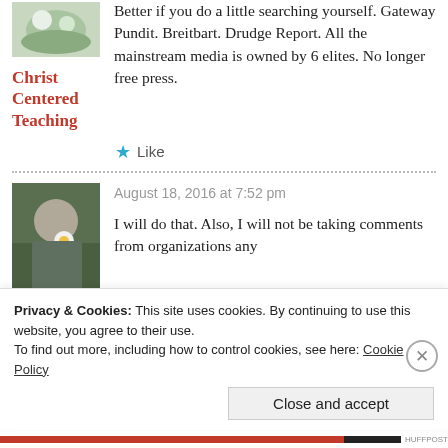[Figure (photo): Small thumbnail photo of flowers/plant, top left]
Christ Centered Teaching
Better if you do a little searching yourself. Gateway Pundit. Breitbart. Drudge Report. All the mainstream media is owned by 6 elites. No longer free press.
★ Like
[Figure (photo): Profile photo of a woman with a flower, second comment avatar]
August 18, 2016 at 7:52 pm
I will do that. Also, I will not be taking comments from organizations any
Privacy & Cookies: This site uses cookies. By continuing to use this website, you agree to their use.
To find out more, including how to control cookies, see here: Cookie Policy
Close and accept